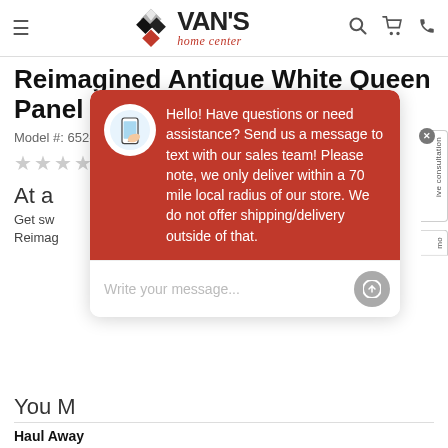Van's Home Center
Reimagined Antique White Queen Panel Bed
Model #: 652-BR-QPB
★★★★★ (0)
At a glance
Get swept... Reimag...
[Figure (screenshot): Chat popup overlay with red header bubble containing message: Hello! Have questions or need assistance? Send us a message to text with our sales team! Please note, we only deliver within a 70 mile local radius of our store. We do not offer shipping/delivery outside of that. Below is a text input field with placeholder 'Write your message...' and a send button.]
You May...
Haul Away